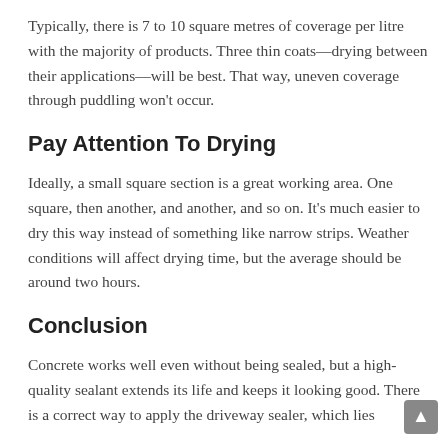Typically, there is 7 to 10 square metres of coverage per litre with the majority of products. Three thin coats—drying between their applications—will be best. That way, uneven coverage through puddling won't occur.
Pay Attention To Drying
Ideally, a small square section is a great working area. One square, then another, and another, and so on. It's much easier to dry this way instead of something like narrow strips. Weather conditions will affect drying time, but the average should be around two hours.
Conclusion
Concrete works well even without being sealed, but a high-quality sealant extends its life and keeps it looking good. There is a correct way to apply the driveway sealer, which lies